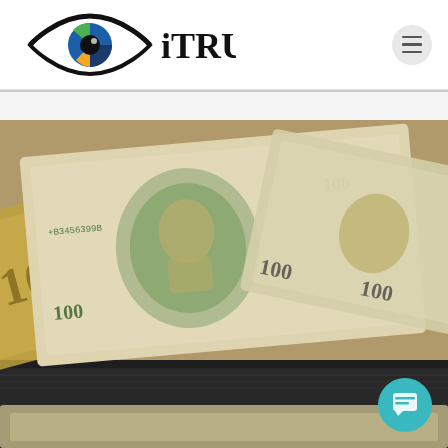[Figure (logo): iTRUST logo: eye icon with colorful iris (green, blue, orange segments) and 'iTRUST' text in large black serif/bold font]
[Figure (photo): Close-up photograph of multiple US $100 dollar bills fanned out, showing Benjamin Franklin portraits, serial numbers, and bill details in green and gold tones]